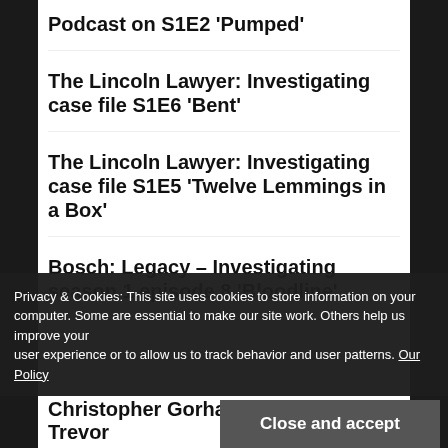Podcast on S1E2 'Pumped'
The Lincoln Lawyer: Investigating case file S1E6 'Bent'
The Lincoln Lawyer: Investigating case file S1E5 'Twelve Lemmings in a Box'
Bosch: Legacy – Investigating season 1 episode 8 'Bloodline'
Privacy & Cookies: This site uses cookies to store information on your computer. Some are essential to make our site work. Others help us improve your user experience or to allow us to track behavior and user patterns. Our Policy
Close and accept
Christopher Gorham who plays Trevor